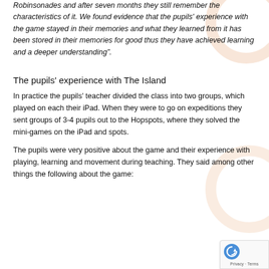Robinsonades and after seven months they still remember the characteristics of it. We found evidence that the pupils' experience with the game stayed in their memories and what they learned from it has been stored in their memories for good thus they have achieved learning and a deeper understanding".
The pupils' experience with The Island
In practice the pupils' teacher divided the class into two groups, which played on each their iPad. When they were to go on expeditions they sent groups of 3-4 pupils out to the Hopspots, where they solved the mini-games on the iPad and spots.
The pupils were very positive about the game and their experience with playing, learning and movement during teaching. They said among other things the following about the game: